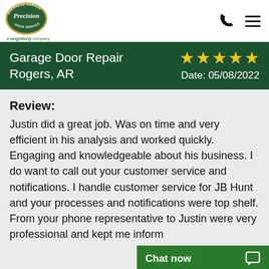Precision Door Service — a Neighborly company
Garage Door Repair Rogers, AR — ★★★★★ Date: 05/08/2022
Review: Justin did a great job. Was on time and very efficient in his analysis and worked quickly. Engaging and knowledgeable about his business. I do want to call out your customer service and notifications. I handle customer service for JB Hunt and your processes and notifications were top shelf. From your phone representative to Justin were very professional and kept me inform...
Chat now